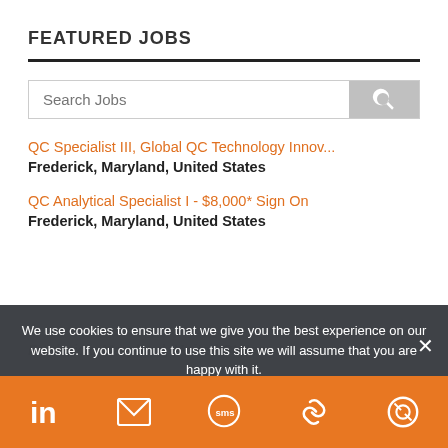FEATURED JOBS
[Figure (screenshot): Search Jobs input field with magnifying glass search button]
QC Specialist III, Global QC Technology Innov...
Frederick, Maryland, United States
QC Analytical Specialist I - $8,000* Sign On
Frederick, Maryland, United States
We use cookies to ensure that we give you the best experience on our website. If you continue to use this site we will assume that you are happy with it.
[Figure (infographic): Orange bottom bar with social/share icons: LinkedIn, email, SMS, link, and a circular icon]